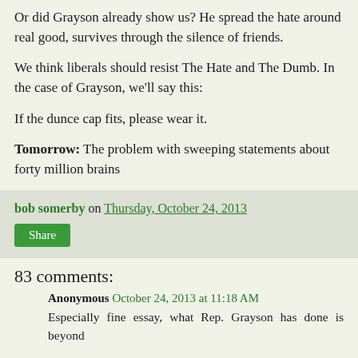Or did Grayson already show us? He spread the hate around real good, survives through the silence of friends.
We think liberals should resist The Hate and The Dumb. In the case of Grayson, we'll say this:
If the dunce cap fits, please wear it.
Tomorrow: The problem with sweeping statements about forty million brains
bob somerby on Thursday, October 24, 2013
Share
83 comments:
Anonymous October 24, 2013 at 11:18 AM
Especially fine essay, what Rep. Grayson has done is beyond